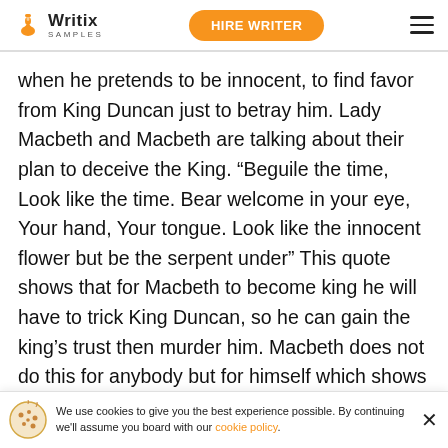Writix SAMPLES | HIRE WRITER
when he pretends to be innocent, to find favor from King Duncan just to betray him. Lady Macbeth and Macbeth are talking about their plan to deceive the King. “Beguile the time, Look like the time. Bear welcome in your eye, Your hand, Your tongue. Look like the innocent flower but be the serpent under” This quote shows that for Macbeth to become king he will have to trick King Duncan, so he can gain the king’s trust then murder him. Macbeth does not do this for anybody but for himself which shows what a monster he is. He a… [text cut off] assa… [text cut off]
We use cookies to give you the best experience possible. By continuing we'll assume you board with our cookie policy.